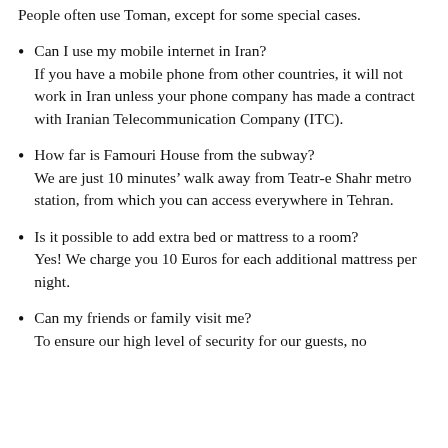People often use Toman, except for some special cases.
Can I use my mobile internet in Iran?
If you have a mobile phone from other countries, it will not work in Iran unless your phone company has made a contract with Iranian Telecommunication Company (ITC).
How far is Famouri House from the subway?
We are just 10 minutes’ walk away from Teatr-e Shahr metro station, from which you can access everywhere in Tehran.
Is it possible to add extra bed or mattress to a room?
Yes! We charge you 10 Euros for each additional mattress per night.
Can my friends or family visit me?
To ensure our high level of security for our guests, no